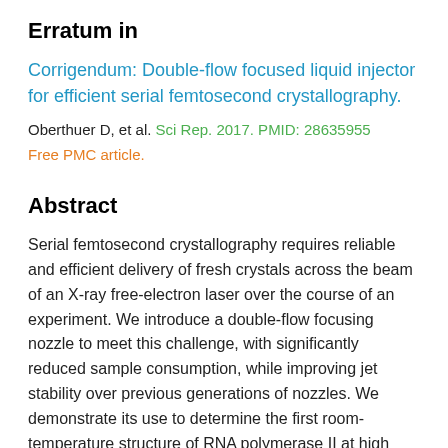Erratum in
Corrigendum: Double-flow focused liquid injector for efficient serial femtosecond crystallography.
Oberthuer D, et al. Sci Rep. 2017. PMID: 28635955
Free PMC article.
Abstract
Serial femtosecond crystallography requires reliable and efficient delivery of fresh crystals across the beam of an X-ray free-electron laser over the course of an experiment. We introduce a double-flow focusing nozzle to meet this challenge, with significantly reduced sample consumption, while improving jet stability over previous generations of nozzles. We demonstrate its use to determine the first room-temperature structure of RNA polymerase II at high resolution, revealing new structural details. Moreover, the double-flow focusing nozzle